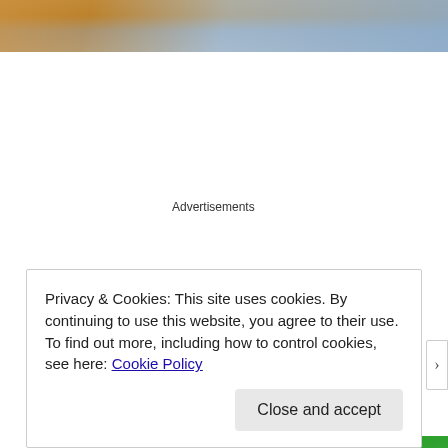[Figure (photo): Partial photo strip at top showing warm-toned outdoor scene with water reflections]
Advertisements
[Figure (other): Jetpack advertisement banner with green background. Left side shows Jetpack logo (lightning bolt icon in circle) and 'Jetpack' text. Right side has white button 'Back up your site'.]
REPORT THIS AD
Privacy & Cookies: This site uses cookies. By continuing to use this website, you agree to their use.
To find out more, including how to control cookies, see here: Cookie Policy
Close and accept